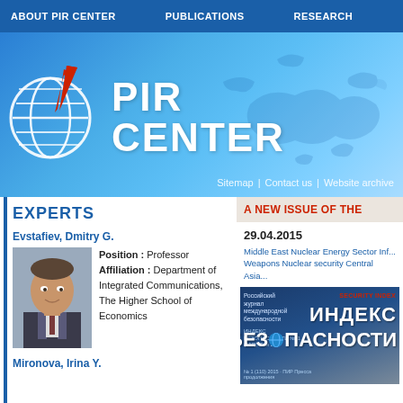ABOUT PIR CENTER   PUBLICATIONS   RESEARCH
[Figure (logo): PIR Center logo with globe and arrow icon, blue gradient banner background with world map overlay, text 'PIR CENTER']
Sitemap | Contact us | Website archive
EXPERTS
A NEW ISSUE OF THE
Evstafiev, Dmitry G.
[Figure (photo): Photo of Evstafiev, Dmitry G., a middle-aged man in a suit]
Position : Professor
Affiliation : Department of Integrated Communications, The Higher School of Economics
29.04.2015
Middle East Nuclear Energy Sector Inf... Weapons Nuclear security Central Asia...
[Figure (photo): Journal cover showing ИНДЕКС БЕЗОПАСНОСТИ (Security Index) publication in Russian]
Mironova, Irina Y.